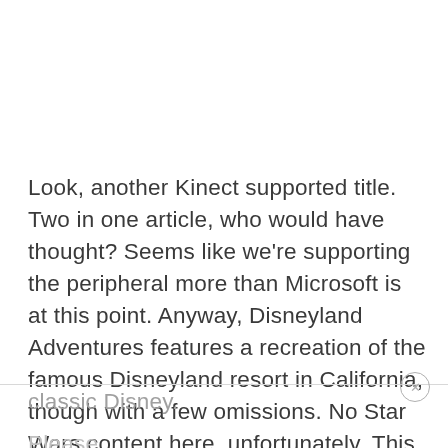Look, another Kinect supported title. Two in one article, who would have thought? Seems like we're supporting the peripheral more than Microsoft is at this point. Anyway, Disneyland Adventures features a recreation of the famous Disneyland resort in California, though with a few omissions. No Star Wars content here, unfortunately. This is just classic Disney.
Please...